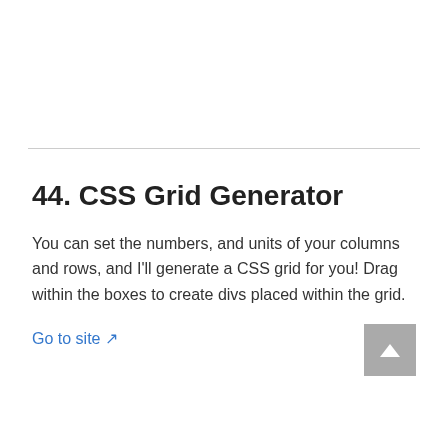44. CSS Grid Generator
You can set the numbers, and units of your columns and rows, and I'll generate a CSS grid for you! Drag within the boxes to create divs placed within the grid.
Go to site 🡥